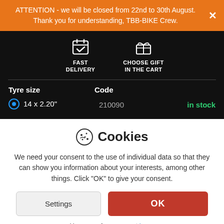ATTENTION - we will be closed from 22nd to 30th August. Thank you for understanding, TBB-BIKE Crew.
[Figure (infographic): Black product feature bar with FAST DELIVERY (calendar/checkmark icon) and CHOOSE GIFT IN THE CART (gift box icon)]
| Tyre size | Code |  |
| --- | --- | --- |
| 14 x 2.20" | 210090 | in stock |
Cookies
We need your consent to the use of individual data so that they can show you information about your interests, among other things. Click "OK" to give your consent.
Settings  OK
You can refuse consent here.